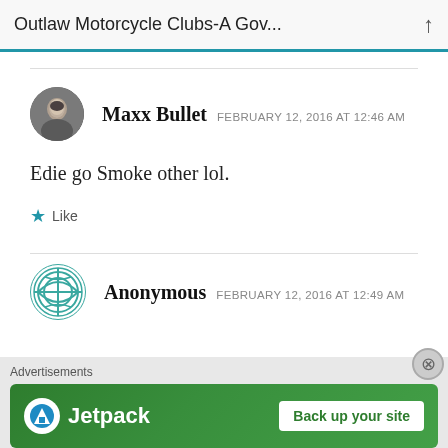Outlaw Motorcycle Clubs-A Gov...
Maxx Bullet  FEBRUARY 12, 2016 AT 12:46 AM
Edie go Smoke other lol.
Like
Anonymous  FEBRUARY 12, 2016 AT 12:49 AM
[Figure (other): Jetpack advertisement banner with logo and 'Back up your site' button]